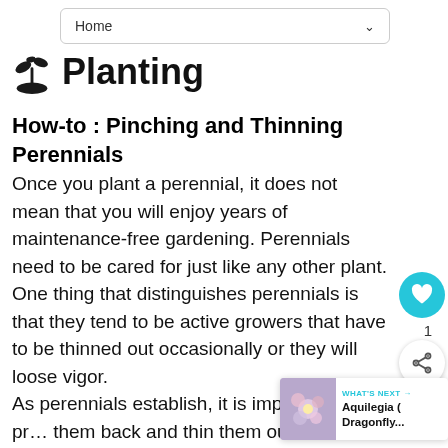Home
Planting
How-to : Pinching and Thinning Perennials
Once you plant a perennial, it does not mean that you will enjoy years of maintenance-free gardening. Perennials need to be cared for just like any other plant. One thing that distinguishes perennials is that they tend to be active growers that have to be thinned out occasionally or they will loose vigor. As perennials establish, it is important to pr... them back and thin them out occasio... This will prevent them from completely ta... an area to the exclusion of other plants, and
[Figure (other): Circular teal heart/like button floating on the right side of the page]
[Figure (other): Share button (circular with share icon) on the right side]
[Figure (other): What's Next panel showing Aquilegia (Dragonfly...) with a flower photo thumbnail]